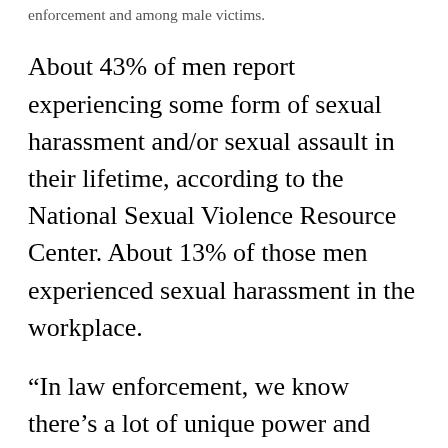enforcement and among male victims.
About 43% of men report experiencing some form of sexual harassment and/or sexual assault in their lifetime, according to the National Sexual Violence Resource Center. About 13% of those men experienced sexual harassment in the workplace.
“In law enforcement, we know there’s a lot of unique power and social dynamics,” said Laura Palumbo, communications director for the National Sexual Violence Resource Center. “There can be even more pressure that you don’t report one of your own or you don’t challenge the behavior of the supervisor